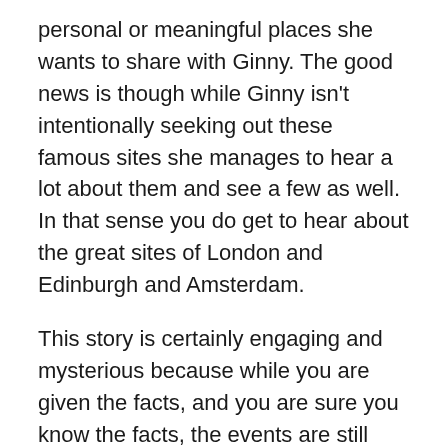personal or meaningful places she wants to share with Ginny. The good news is though while Ginny isn't intentionally seeking out these famous sites she manages to hear a lot about them and see a few as well. In that sense you do get to hear about the great sites of London and Edinburgh and Amsterdam.
This story is certainly engaging and mysterious because while you are given the facts, and you are sure you know the facts, the events are still confusing. In this I think Johnson instantly gets you in because you know the impossible and because of this you must see how it ends.
From very early on it made me extremely envious of people in Europe and the UK that they can just duck to Scotland and be home in London a few hours later with no issue. Johnson captures the experience well through